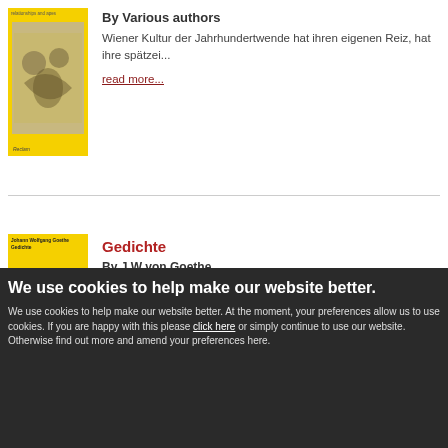[Figure (illustration): Yellow book cover with decorative mosaic/pattern image and 'Reclam' label at bottom]
By Various authors
Wiener Kultur der Jahrhundertwende hat ihren eigenen Reiz, hat ihre spätzei...
read more...
[Figure (illustration): Yellow book cover titled 'Johann Wolfgang Goethe Gedichte' with Reclam label and portrait photo of Goethe]
Gedichte
By J W von Goethe
read more...
We use cookies to help make our website better.
We use cookies to help make our website better. At the moment, your preferences allow us to use cookies. If you are happy with this please click here or simply continue to use our website. Otherwise find out more and amend your preferences here.